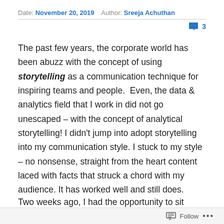Date: November 20, 2019   Author: Sreeja Achuthan   💬 3
The past few years, the corporate world has been abuzz with the concept of using storytelling as a communication technique for inspiring teams and people.  Even, the data & analytics field that I work in did not go unescaped – with the concept of analytical storytelling! I didn't jump into adopt storytelling into my communication style. I stuck to my style – no nonsense, straight from the heart content laced with facts that struck a chord with my audience. It has worked well and still does.
Two weeks ago, I had the opportunity to sit through